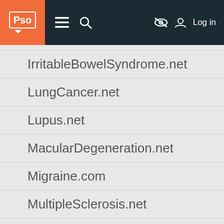Pso [navigation bar with hamburger menu, search, eye-off icon, and Log in]
IrritableBowelSyndrome.net
LungCancer.net
Lupus.net
MacularDegeneration.net
Migraine.com
MultipleSclerosis.net
Myasthenia-Gravis.com
Neuromyelitis-Optica.net
ParkinsonsDisease.net
PlaquePsoriasis.com
ProstateCancer.net
Psoriatic-Arthritis.com